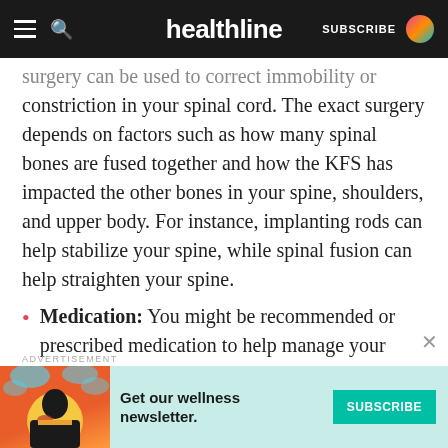healthline — SUBSCRIBE
surgery can be used to correct immobility or constriction in your spinal cord. The exact surgery depends on factors such as how many spinal bones are fused together and how the KFS has impacted the other bones in your spine, shoulders, and upper body. For instance, implanting rods can help stabilize your spine, while spinal fusion can help straighten your spine.
Medication: You might be recommended or prescribed medication to help manage your skeletal, muscle, or nerve pain due to KFS. This could include antidepressants, muscle relaxers, nonsteroidal anti-inflammatory drugs, or
ADVERTISEMENT
[Figure (infographic): Advertisement banner for Healthline wellness newsletter subscription with teal background, illustration of woman, and SUBSCRIBE button]